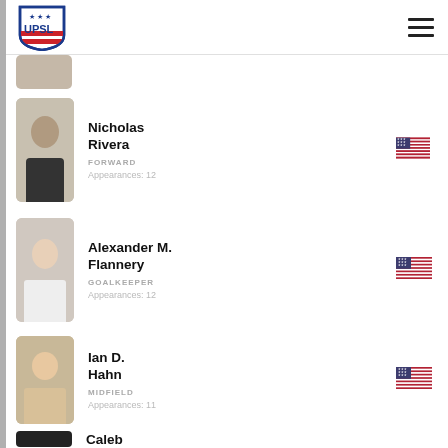UPSL
[Figure (photo): Partially visible player photo at top]
Nicholas Rivera
FORWARD
Appearances: 12
Alexander M. Flannery
GOALKEEPER
Appearances: 12
Ian D. Hahn
MIDFIELD
Appearances: 11
Caleb